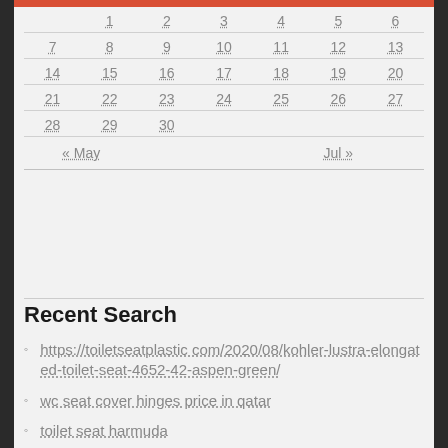|  |  |  |  |  |  |  |
| --- | --- | --- | --- | --- | --- | --- |
|  | 1 | 2 | 3 | 4 | 5 | 6 |
| 7 | 8 | 9 | 10 | 11 | 12 | 13 |
| 14 | 15 | 16 | 17 | 18 | 19 | 20 |
| 21 | 22 | 23 | 24 | 25 | 26 | 27 |
| 28 | 29 | 30 |  |  |  |  |
| « May |  |  |  | Jul » |  |  |
Recent Search
https://toiletseatplastic com/2020/08/kohler-lustra-elongated-toilet-seat-4652-42-aspen-green/
wc seat cover hinges price in qatar
toilet seat harmuda